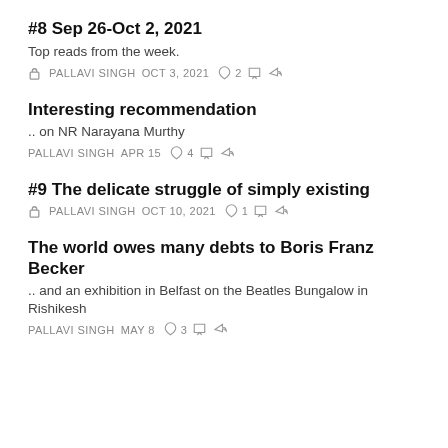#8 Sep 26-Oct 2, 2021
Top reads from the week.
PALLAVI SINGH   OCT 3, 2021   ♡ 2
Interesting recommendation
.. on NR Narayana Murthy
PALLAVI SINGH   APR 15   ♡ 4
#9 The delicate struggle of simply existing
PALLAVI SINGH   OCT 10, 2021   ♡ 1
The world owes many debts to Boris Franz Becker
.. and an exhibition in Belfast on the Beatles Bungalow in Rishikesh
PALLAVI SINGH   MAY 8   ♡ 3